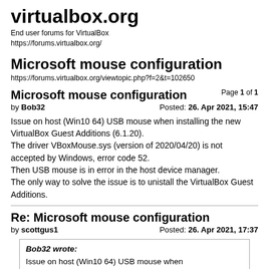virtualbox.org
End user forums for VirtualBox
https://forums.virtualbox.org/
Microsoft mouse configuration
https://forums.virtualbox.org/viewtopic.php?f=2&t=102650
Microsoft mouse configuration
Page 1 of 1
by Bob32
Posted: 26. Apr 2021, 15:47
Issue on host (Win10 64) USB mouse when installing the new VirtualBox Guest Additions (6.1.20).
The driver VBoxMouse.sys (version of 2020/04/20) is not accepted by Windows, error code 52.
Then USB mouse is in error in the host device manager.
The only way to solve the issue is to unistall the VirtualBox Guest Additions.
Re: Microsoft mouse configuration
by scottgus1
Posted: 26. Apr 2021, 17:37
Bob32 wrote:
Issue on host (Win10 64) USB mouse when installing the new VirtualBox Guest Additions